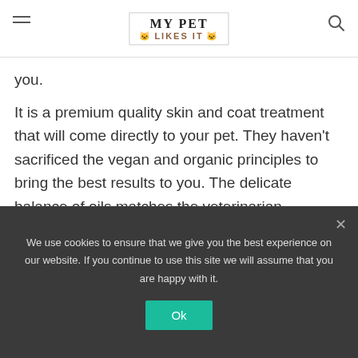MY PET LIKES IT
you.
It is a premium quality skin and coat treatment that will come directly to your pet. They haven't sacrificed the vegan and organic principles to bring the best results to you. The delicate balance of oils matches the veterinarian recommended care regimen.
Key Points:
We use cookies to ensure that we give you the best experience on our website. If you continue to use this site we will assume that you are happy with it.